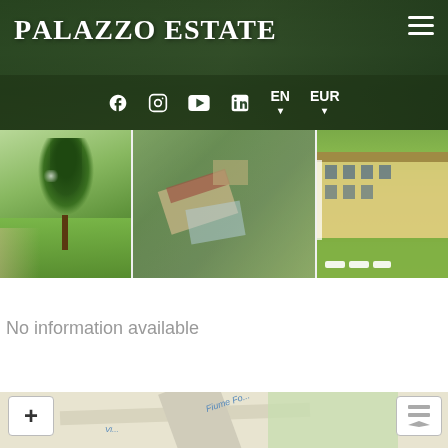Palazzo Estate
[Figure (screenshot): Website header with dark green aerial background, Palazzo Estate logo on left, hamburger menu on right, social media icons (Facebook, Instagram, YouTube, LinkedIn) and EN/EUR language selectors below]
[Figure (photo): Three property photos in a row: garden with tall tree on green lawn, aerial view of estate buildings among trees, villa facade with white sun loungers on lawn]
No information available
[Figure (map): Map section showing roads and green area, with + zoom button on left and layers button on right, road label 'Fiume Fo...' visible]